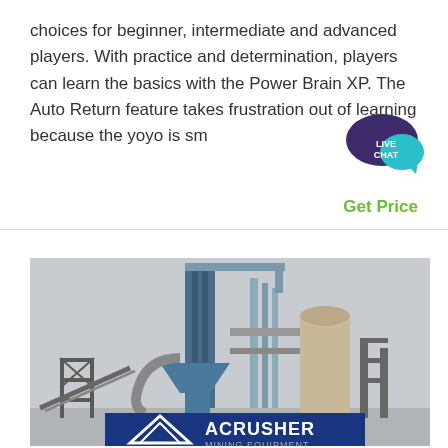choices for beginner, intermediate and advanced players. With practice and determination, players can learn the basics with the Power Brain XP. The Auto Return feature takes frustration out of learning because the yoyo is sm
[Figure (other): Live chat bubble icon with text LIVE CHAT in teal/dark purple speech bubble]
Get Price
[Figure (photo): Industrial mining/cement plant facility photo with tall blue metal towers, silos, and industrial equipment. ACRUSHER MINING EQUIPMENT logo visible at bottom.]